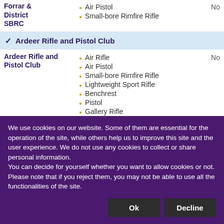Forrar & District SBRC — Air Pistol, Small-bore Rimfire Rifle — No
Ardeer Rifle and Pistol Club
Ardeer Rifle and Pistol Club — Air Rifle, Air Pistol, Small-bore Rimfire Rifle, Lightweight Sport Rifle, Benchrest, Pistol, Gallery Rifle — No
We use cookies on our website. Some of them are essential for the operation of the site, while others help us to improve this site and the user experience. We do not use any cookies to collect or share personal information.
You can decide for yourself whether you want to allow cookies or not. Please note that if you reject them, you may not be able to use all the functionalities of the site.